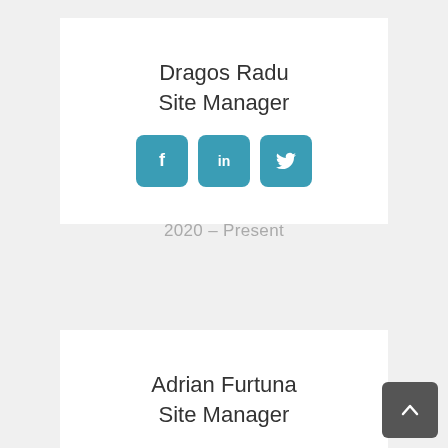Dragos Radu
Site Manager
[Figure (infographic): Social media icons for Facebook, LinkedIn, and Twitter in teal rounded square buttons]
2020 – Present
Adrian Furtuna
Site Manager
[Figure (infographic): Partial social media icons for Facebook, LinkedIn, and Twitter in teal rounded square buttons (cropped)]
[Figure (infographic): Back to top button - dark grey rounded square with upward chevron arrow]